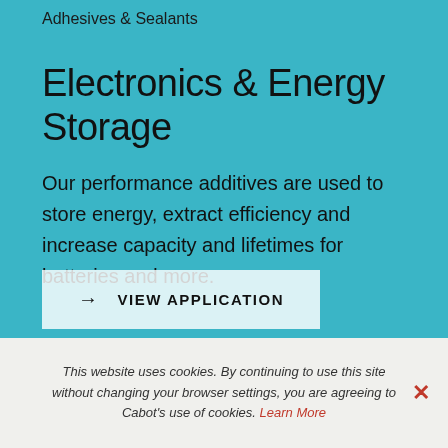Adhesives & Sealants
Electronics & Energy Storage
Our performance additives are used to store energy, extract efficiency and increase capacity and lifetimes for batteries and more.
→ VIEW APPLICATION
This website uses cookies. By continuing to use this site without changing your browser settings, you are agreeing to Cabot's use of cookies. Learn More